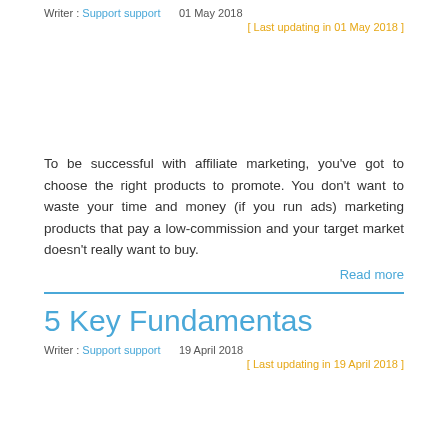Writer : Support support    01 May 2018
[ Last updating in 01 May 2018 ]
To be successful with affiliate marketing, you've got to choose the right products to promote. You don't want to waste your time and money (if you run ads) marketing products that pay a low-commission and your target market doesn't really want to buy.
Read more
5 Key Fundamentas
Writer : Support support    19 April 2018
[ Last updating in 19 April 2018 ]